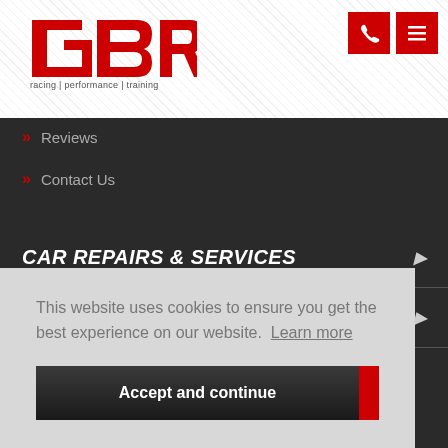[Figure (logo): GBR logo in red with text 'racing | performance | training' below]
» Reviews
» Contact Us
CAR REPAIRS & SERVICES
ENGINE TUNING
This website uses cookies to ensure you get the best experience on our website. Learn more
Accept and continue